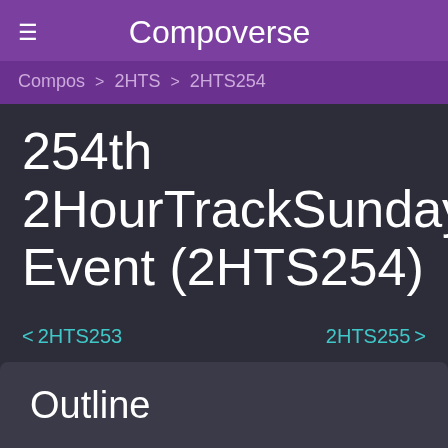Compoverse
Compos > 2HTS > 2HTS254
254th 2HourTrackSundays Event (2HTS254)
< 2HTS253    2HTS255 >
Outline